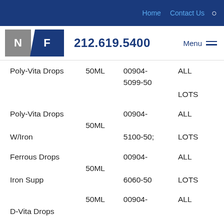Home  Contact Us  🔍
[Figure (logo): NF logo with phone number 212.619.5400 and Menu button]
| Product | Size | NDC | Lots |
| --- | --- | --- | --- |
| Poly-Vita Drops | 50ML | 00904-5099-50 | ALL LOTS |
| Poly-Vita Drops W/Iron | 50ML | 00904-5100-50; | ALL LOTS |
| Ferrous Drops Iron Supp | 50ML | 00904-6060-50 | ALL LOTS |
| D-Vita Drops | 50ML | 00904- | ALL |